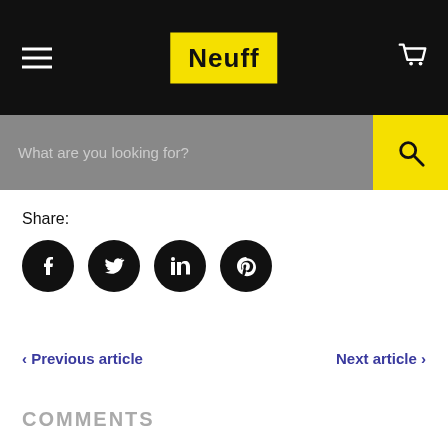Neuff
What are you looking for?
Share:
[Figure (other): Social share icons: Facebook, Twitter, LinkedIn, Pinterest — black circles with white icons]
< Previous article
Next article >
COMMENTS